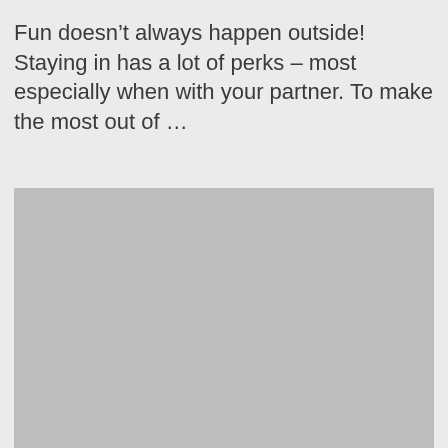Fun doesn't always happen outside! Staying in has a lot of perks – most especially when with your partner. To make the most out of …
[Figure (photo): A large gray placeholder image occupying the lower portion of the page.]